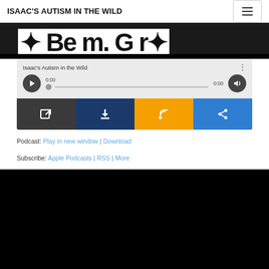ISAAC'S AUTISM IN THE WILD
[Figure (screenshot): Podcast audio player widget for Isaac's Autism in the Wild with play button, progress bar showing 0:00 / 0:00, volume button, and four action buttons: open in new window (dark), download (dark blue), RSS (orange), share (blue)]
Podcast: Play in new window | Download
Subscribe: Apple Podcasts | RSS | More